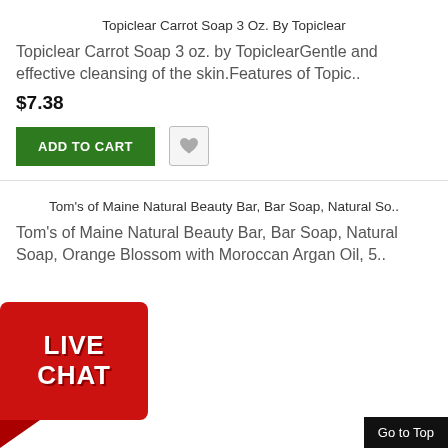Topiclear Carrot Soap 3 Oz. By Topiclear
Topiclear Carrot Soap 3 oz. by TopiclearGentle and effective cleansing of the skin.Features of Topic..
$7.38
ADD TO CART
Tom's of Maine Natural Beauty Bar, Bar Soap, Natural So..
Tom's of Maine Natural Beauty Bar, Bar Soap, Natural Soap, Orange Blossom with Moroccan Argan Oil, 5..
[Figure (other): Live Chat button overlay in red with white bold text]
Go to Top